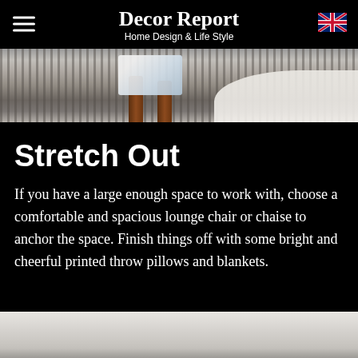Decor Report
Home Design & Life Style
[Figure (photo): Close-up photo of a striped carpet/rug with a wooden chair leg and white fabric visible, and a fluffy white rug in the corner]
Stretch Out
If you have a large enough space to work with, choose a comfortable and spacious lounge chair or chaise to anchor the space. Finish things off with some bright and cheerful printed throw pillows and blankets.
[Figure (photo): Partial photo at bottom of page showing a light-colored surface, likely a bed or sofa]